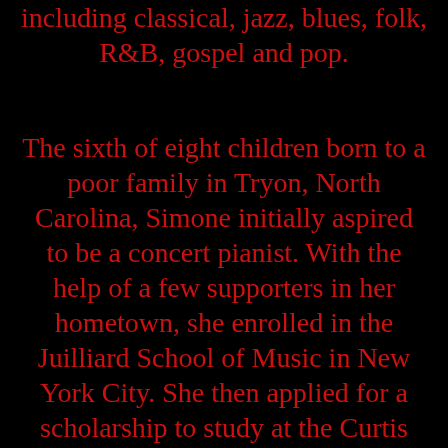including classical, jazz, blues, folk, R&B, gospel and pop.
The sixth of eight children born to a poor family in Tryon, North Carolina, Simone initially aspired to be a concert pianist. With the help of a few supporters in her hometown, she enrolled in the Juilliard School of Music in New York City. She then applied for a scholarship to study at the Curtis Institute of Music in Philadelphia, where she was denied admission despite a well received audition, which she attributed to racism. In 2003, just days